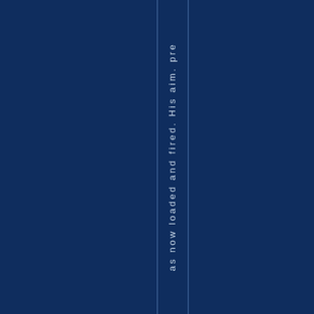[Figure (other): Dark navy blue background page with a vertical strip in the center containing rotated/vertical text reading 'as now loaded and fired. His aim. pre' in light blue/white color, framed by thin vertical lines.]